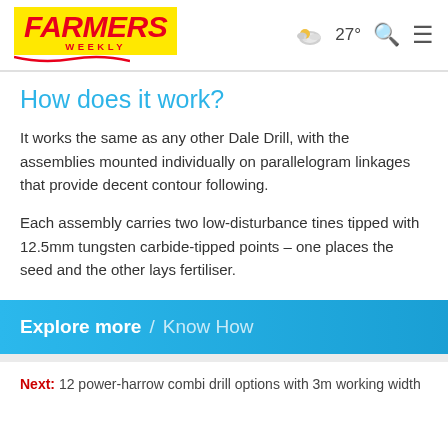Farmers Weekly | 27° | Search | Menu
How does it work?
It works the same as any other Dale Drill, with the assemblies mounted individually on parallelogram linkages that provide decent contour following.
Each assembly carries two low-disturbance tines tipped with 12.5mm tungsten carbide-tipped points – one places the seed and the other lays fertiliser.
Explore more / Know How
Next: 12 power-harrow combi drill options with 3m working width